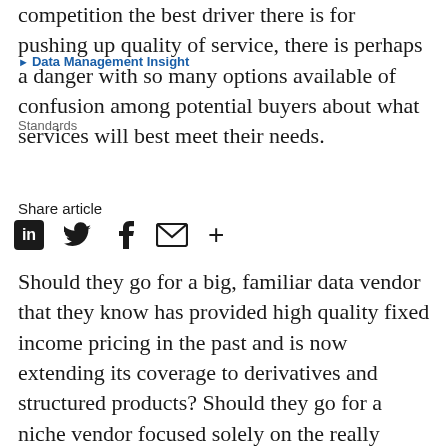competition the best driver there is for pushing up quality of service, there is perhaps a danger with so many options available of confusion among potential buyers about what services will best meet their needs.
▶ Data Management Insight
Standards
Share article
Should they go for a big, familiar data vendor that they know has provided high quality fixed income pricing in the past and is now extending its coverage to derivatives and structured products? Should they go for a niche vendor focused solely on the really complex and hard to price instrument types? Should they look for a big vendor that has partnered with a niche player? Do they need prices on truly bespoke instruments, and if so are they confident in their vendor's capability to model and accurately value new instrument types? And, of course, how many independent sources do they